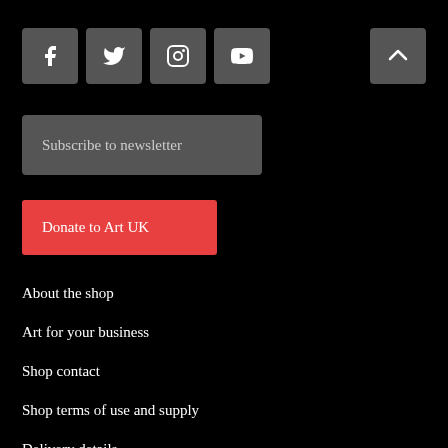[Figure (screenshot): Social media icon buttons: Facebook, Twitter, Instagram, YouTube]
[Figure (screenshot): Scroll to top button with caret/chevron up arrow]
Subscribe to newsletter
Donate to Art UK
About the shop
Art for your business
Shop contact
Shop terms of use and supply
Delivery details
Promotions